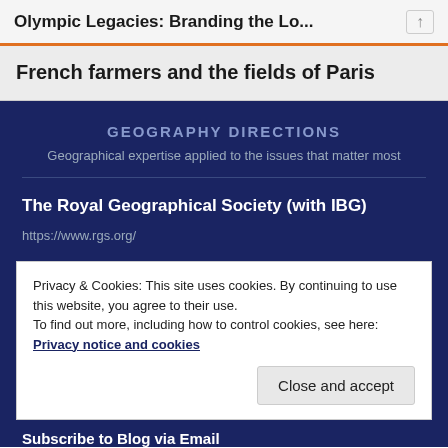Olympic Legacies: Branding the Lo...
French farmers and the fields of Paris
GEOGRAPHY DIRECTIONS
Geographical expertise applied to the issues that matter most
The Royal Geographical Society (with IBG)
https://www.rgs.org/
Privacy & Cookies: This site uses cookies. By continuing to use this website, you agree to their use.
To find out more, including how to control cookies, see here: Privacy notice and cookies
Close and accept
Subscribe to Blog via Email